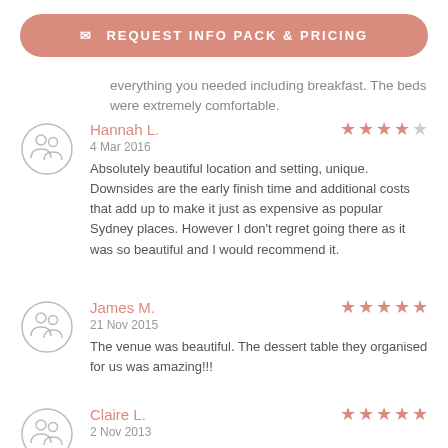REQUEST INFO PACK & PRICING
everything you needed including breakfast. The beds were extremely comfortable.
Hannah L.
4 Mar 2016
Absolutely beautiful location and setting, unique. Downsides are the early finish time and additional costs that add up to make it just as expensive as popular Sydney places. However I don't regret going there as it was so beautiful and I would recommend it.
James M.
21 Nov 2015
The venue was beautiful. The dessert table they organised for us was amazing!!!
Claire L.
2 Nov 2013